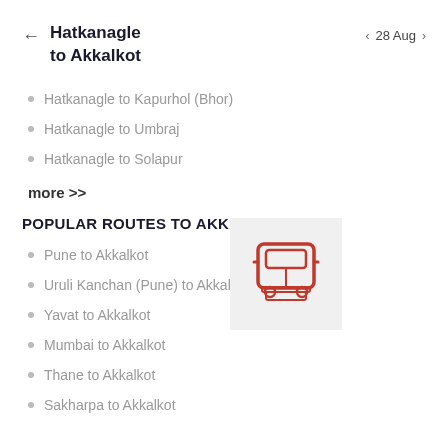Hatkanagle to Akkalkot
28 Aug
Hatkanagle to Kapurhol (Bhor)
Hatkanagle to Umbraj
Hatkanagle to Solapur
more >>
[Figure (illustration): Red bus icon on light grey background]
POPULAR ROUTES TO AKKALKOT
Pune to Akkalkot
Uruli Kanchan (Pune) to Akkalkot
Yavat to Akkalkot
Mumbai to Akkalkot
Thane to Akkalkot
Sakharpa to Akkalkot